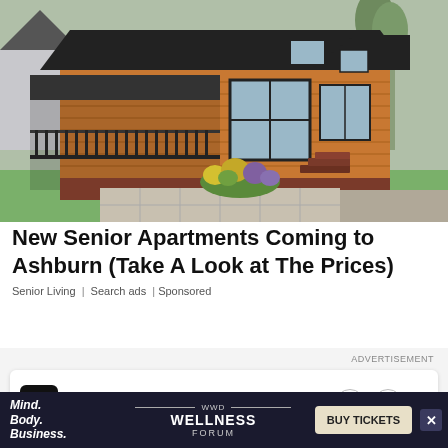[Figure (photo): Exterior photo of a modern single-story wooden cabin/mobile home with large windows, a wrap-around porch with black railings, brick foundation, stone patio, flower beds, and trees in background.]
New Senior Apartments Coming to Ashburn (Take A Look at The Prices)
Senior Living | Search ads | Sponsored
ADVERTISEMENT
[Figure (logo): Footwear News FN logo in black square with navigation arrows and close button]
[Figure (infographic): WWD Wellness Forum advertisement banner: Mind. Body. Business. with BUY TICKETS button]